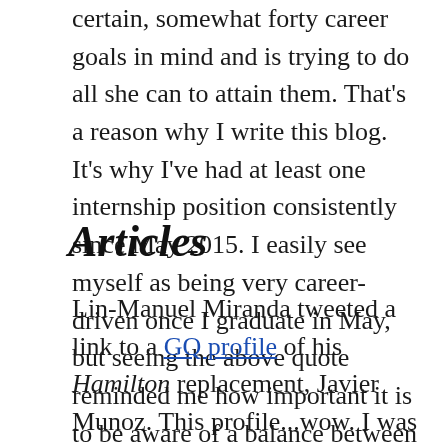certain, somewhat forty career goals in mind and is trying to do all she can to attain them. That's a reason why I write this blog. It's why I've had at least one internship position consistently since May 2015. I easily see myself as being very career-driven once I graduate in May, but seeing the above quote reminded me how important it is to be aware of a balance between professional and personal.
Articles
Lin-Manuel Miranda tweeted a link to a GQ profile of his Hamilton replacement, Javier Munoz. This profile...wow. I was so moved by it that I promptly looked up everything else that the writer, Taffy Brodesser-Akner, had published. Needless to say, she is my new career inspiration. Do yourself a favor and read something of hers. You're bound to find a piece that you relate to somehow. Her profiles are probably my favorite